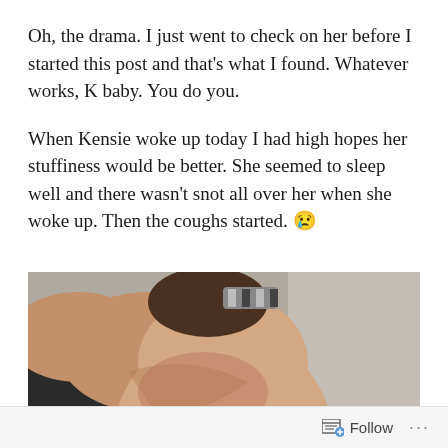Oh, the drama. I just went to check on her before I started this post and that's what I found. Whatever works, K baby. You do you.
When Kensie woke up today I had high hopes her stuffiness would be better. She seemed to sleep well and there wasn't snot all over her when she woke up. Then the coughs started. 😢
[Figure (photo): A woman holding a baby close to her chest, baby's head visible in the foreground, photo taken from above]
Follow ...